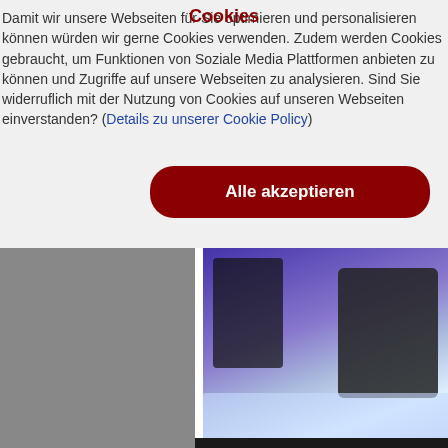Cookies
Damit wir unsere Webseiten für Sie optimieren und personalisieren können würden wir gerne Cookies verwenden. Zudem werden Cookies gebraucht, um Funktionen von Soziale Media Plattformen anbieten zu können und Zugriffe auf unsere Webseiten zu analysieren. Sind Sie widerruflich mit der Nutzung von Cookies auf unseren Webseiten einverstanden? (Details zu unserer Cookie Policy)
[Figure (other): Grey placeholder block on the left side of the lower half of the page]
[Figure (photo): Photo showing people at what appears to be a trade show or event, with a figure in a costume (possibly a robot or mascot) and a person leaning over a white table, blue/purple ambient lighting]